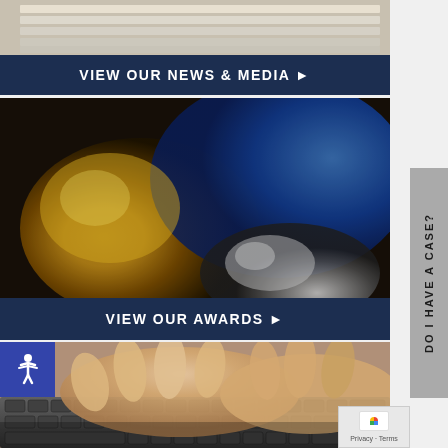[Figure (photo): Stack of papers/documents, blurred background]
VIEW OUR NEWS & MEDIA ▶
[Figure (photo): Close-up of a golden gavel on blue cloth surface]
VIEW OUR AWARDS ▶
[Figure (photo): Hands typing on a computer keyboard, close-up]
DO I HAVE A CASE?
Privacy · Terms